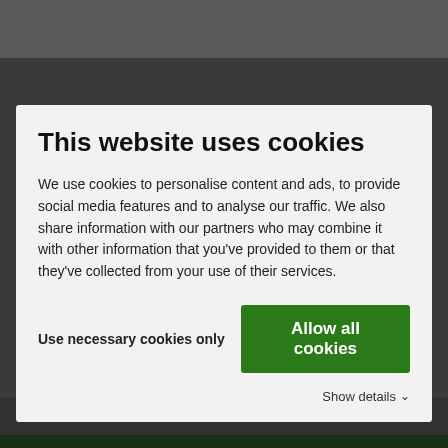[Figure (screenshot): Background of an insurance comparison website showing dimmed content including a heading 'Compare home insurance with...', a dark red 'Get a new quote' button, and a 'Retrieve an existing quote' link, all obscured by a cookie consent modal overlay.]
This website uses cookies
We use cookies to personalise content and ads, to provide social media features and to analyse our traffic. We also share information with our partners who may combine it with other information that you've provided to them or that they've collected from your use of their services.
Use necessary cookies only
Allow all cookies
Show details